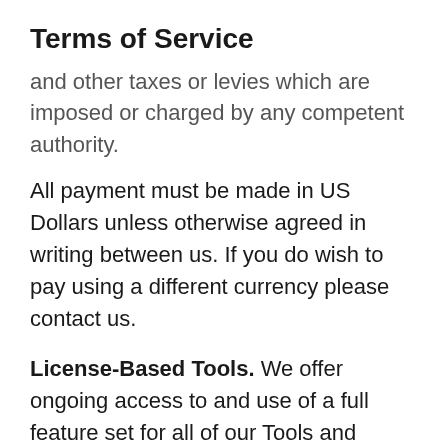Terms of Service
and other taxes or levies which are imposed or charged by any competent authority.
All payment must be made in US Dollars unless otherwise agreed in writing between us. If you do wish to pay using a different currency please contact us.
License-Based Tools. We offer ongoing access to and use of a full feature set for all of our Tools and dedicated email support for an annual fee (a "Subscription"). A Subscription may be based on usage by an individual User or for the User's domain. The Subscription will be subject to the terms of this Agreement. By signing up for a licence, you agree to pay the